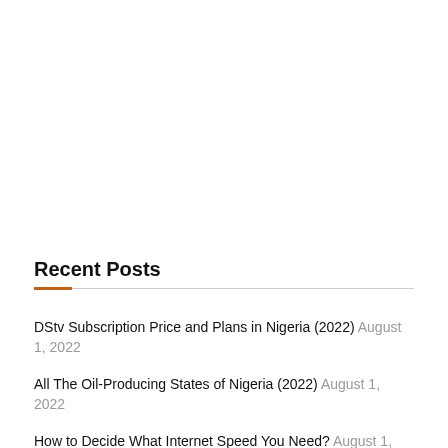Recent Posts
DStv Subscription Price and Plans in Nigeria (2022) August 1, 2022
All The Oil-Producing States of Nigeria (2022) August 1, 2022
How to Decide What Internet Speed You Need? August 1, 2022
How Much Is A Bag of Beans In Nigeria? August 1, 2022